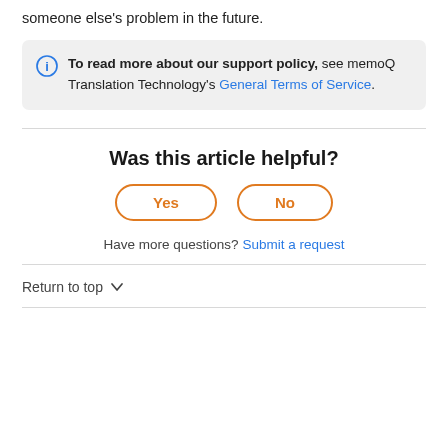someone else's problem in the future.
To read more about our support policy, see memoQ Translation Technology's General Terms of Service.
Was this article helpful?
Yes
No
Have more questions? Submit a request
Return to top